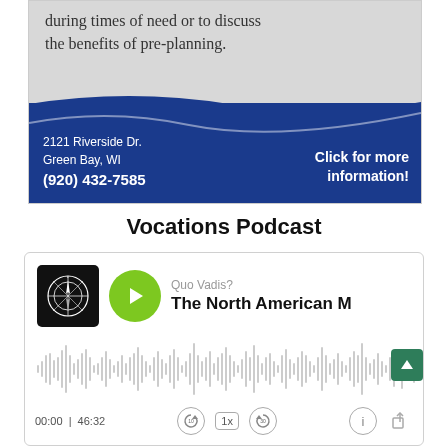[Figure (screenshot): Advertisement banner for funeral home at 2121 Riverside Dr., Green Bay, WI, (920) 432-7585. Blue and gray design with text about times of need and pre-planning. 'Click for more information!' call to action.]
Vocations Podcast
[Figure (screenshot): Podcast player widget showing 'Quo Vadis? - The North American M...' episode. Green play button, compass logo thumbnail, audio waveform visualization, time 00:00 / 46:32, playback controls including 10s back, 1x speed, 30s forward, info, and share buttons.]